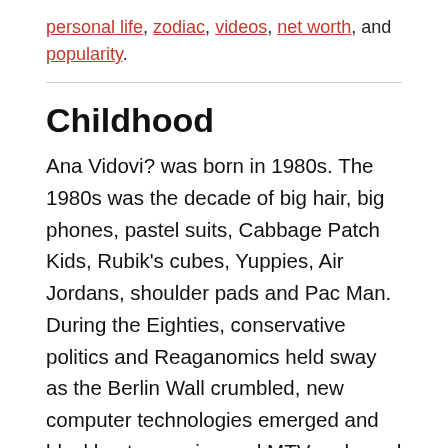personal life, zodiac, videos, net worth, and popularity.
Childhood
Ana Vidovi? was born in 1980s. The 1980s was the decade of big hair, big phones, pastel suits, Cabbage Patch Kids, Rubik's cubes, Yuppies, Air Jordans, shoulder pads and Pac Man. During the Eighties, conservative politics and Reaganomics held sway as the Berlin Wall crumbled, new computer technologies emerged and blockbuster movies and MTV reshaped pop culture. Discover what happened on this day